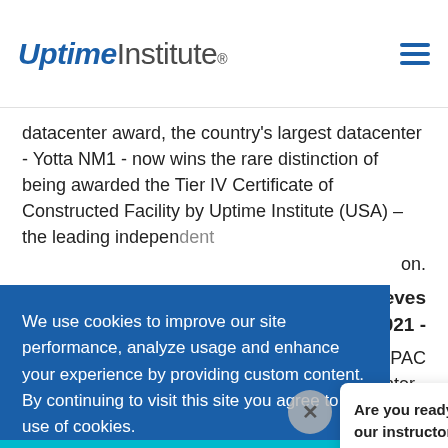[Figure (logo): Uptime Institute logo with hamburger menu icon]
datacenter award, the country's largest datacenter - Yotta NM1 - now wins the rare distinction of being awarded the Tier IV Certificate of Constructed Facility by Uptime Institute (USA) – the leading independent on.
hieves 2021-
APAC nter - ing Facility dent on.
We use cookies to improve our site performance, analyze usage and enhance your experience by providing custom content. By continuing to visit this site you agree to our use of cookies. To learn more please review our privacy policy.
[Figure (screenshot): Are you ready to explore our instructor-led online courses? promotional popup with Uptime Institute logo]
India's first Tier IV Constructed Facility Award by